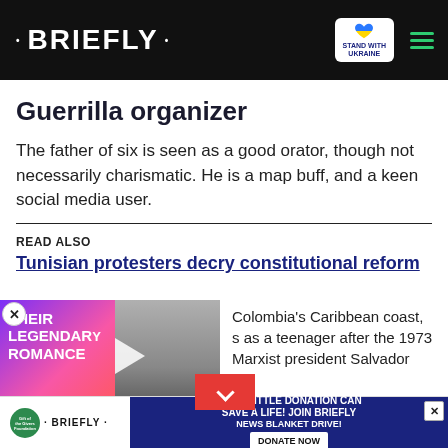· BRIEFLY ·
Guerrilla organizer
The father of six is seen as a good orator, though not necessarily charismatic. He is a map buff, and a keen social media user.
READ ALSO
Tunisian protesters decry constitutional reform
THEIR LEGENDARY ROMANCE
Colombia's Caribbean coast, s as a teenager after the 1973 Marxist president Salvador
[Figure (screenshot): Advertisement banner at bottom: Gift of the Givers Foundation and Briefly logo on left, blue donation drive banner in center reading 'YOUR LITTLE DONATION CAN SAVE A LIFE! JOIN BRIEFLY NEWS BLANKET DRIVE!' with DONATE NOW button, close X on right]